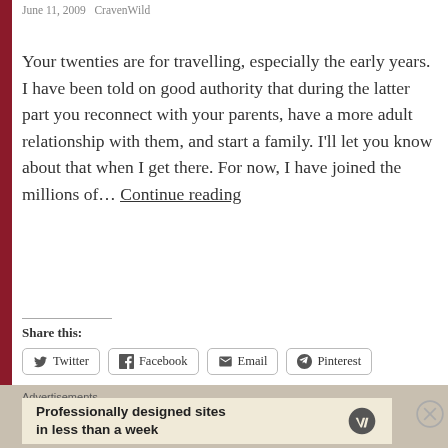June 11, 2009   CravenWild
Your twenties are for travelling, especially the early years. I have been told on good authority that during the latter part you reconnect with your parents, have a more adult relationship with them, and start a family. I'll let you know about that when I get there. For now, I have joined the millions of… Continue reading
Share this:
Twitter  Facebook  Email  Pinterest
Loading...
Advertisements
Professionally designed sites in less than a week